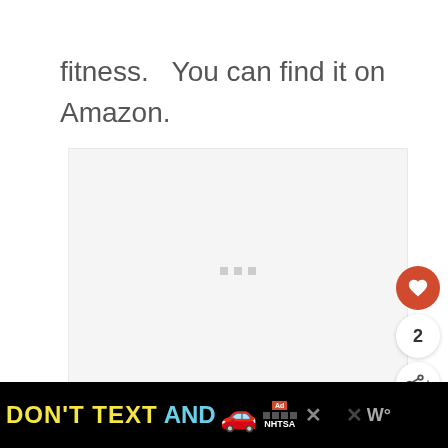fitness.  You can find it on Amazon.
[Figure (other): Loading image placeholder with three small grey squares centered in a light grey box]
[Figure (other): Heart/like button (red circle with white heart icon), count label showing 2, and share button]
[Figure (other): Advertisement bar at bottom: black background with yellow 'DON'T TEXT' and cyan 'AND' text, red car emoji, ad badge and NHTSA logo, close buttons]